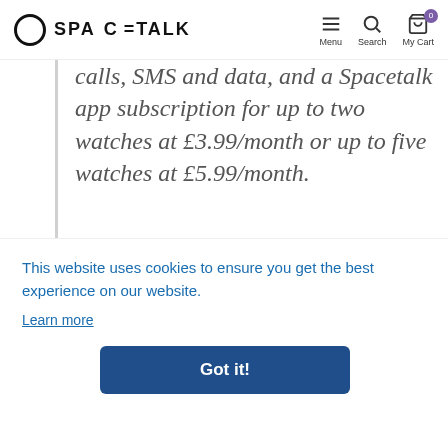SPACETALK — Menu | Search | My Cart
calls, SMS and data, and a Spacetalk app subscription for up to two watches at £3.99/month or up to five watches at £5.99/month.
Adventurer is equipped with a 5MP Camera, Improved Battery, Heart Rate Monitor, Bluetooth
This website uses cookies to ensure you get the best experience on our website.
Learn more
Got it!